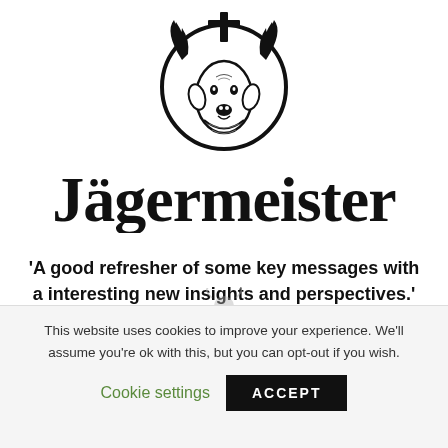[Figure (logo): Jägermeister logo: circular emblem with a stag's head and cross above antlers, in black and white, with 'Jägermeister' in blackletter font below]
'A good refresher of some key messages with a interesting new insights and perspectives.'
This website uses cookies to improve your experience. We'll assume you're ok with this, but you can opt-out if you wish.
Cookie settings
ACCEPT